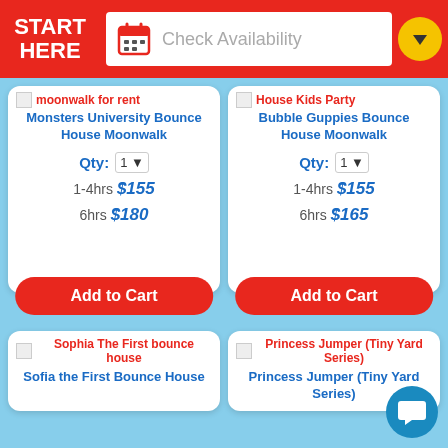START HERE | Check Availability
moonwalk for rent
Monsters University Bounce House Moonwalk
Qty: 1
1-4hrs $155
6hrs $180
House Kids Party
Bubble Guppies Bounce House Moonwalk
Qty: 1
1-4hrs $155
6hrs $165
Add to Cart
Add to Cart
Sophia The First bounce house
Sofia the First Bounce House
Princess Jumper (Tiny Yard Series)
Princess Jumper (Tiny Yard Series)